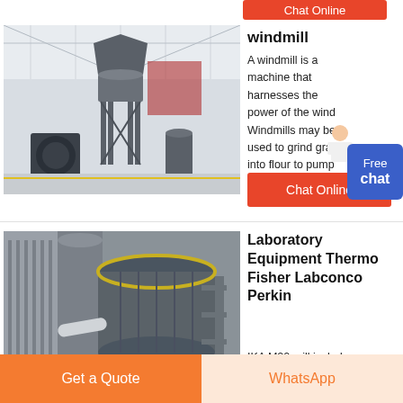[Figure (photo): Top partial 'Chat Online' orange button visible at top right]
[Figure (photo): Industrial windmill/grinding mill machine inside a large warehouse facility]
windmill
A windmill is a machine that harnesses the power of the wind Windmills may be used to grind grain into flour to pump water or to produce electricity.
[Figure (photo): Chat Online orange button]
[Figure (photo): Industrial grinding mill equipment close-up, showing large cylindrical mill with pipes and support structures]
Laboratory Equipment Thermo Fisher Labconco Perkin
IKA M20 mill includes a removable easy to clean